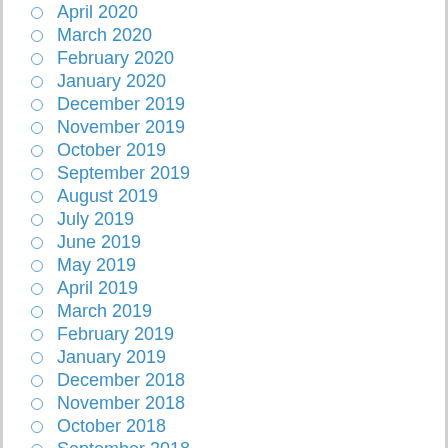April 2020
March 2020
February 2020
January 2020
December 2019
November 2019
October 2019
September 2019
August 2019
July 2019
June 2019
May 2019
April 2019
March 2019
February 2019
January 2019
December 2018
November 2018
October 2018
September 2018